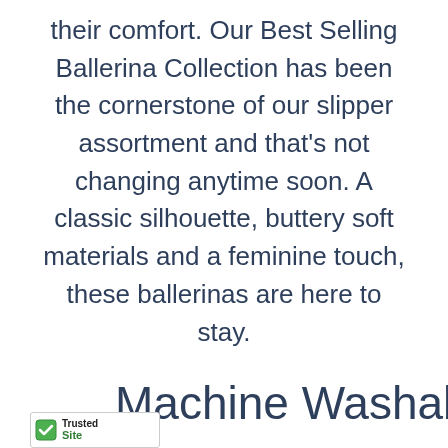their comfort. Our Best Selling Ballerina Collection has been the cornerstone of our slipper assortment and that's not changing anytime soon. A classic silhouette, buttery soft materials and a feminine touch, these ballerinas are here to stay.
Machine Washable
[Figure (logo): TrustedSite badge with green checkmark and 'TrustedSite' text]